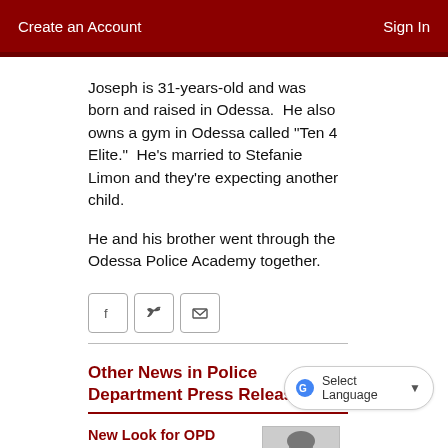Create an Account    Sign In
Joseph is 31-years-old and was born and raised in Odessa.  He also owns a gym in Odessa called "Ten 4 Elite."  He's married to Stefanie Limon and they're expecting another child.
He and his brother went through the Odessa Police Academy together.
[Figure (other): Social sharing buttons: Facebook, Twitter, Email]
Other News in Police Department Press Releases
New Look for OPD
[Figure (photo): Black and white photo of a police officer in uniform]
Select Language